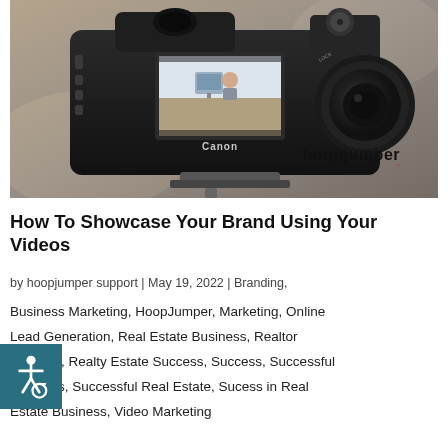[Figure (photo): A Canon DSLR camera on a tripod/mount showing a person on its LCD screen, with 'hoopjumper' branding text visible in the lower right of the image.]
How To Showcase Your Brand Using Your Videos
by hoopjumper support | May 19, 2022 | Branding, Business Marketing, HoopJumper, Marketing, Online Lead Generation, Real Estate Business, Realtor Success, Realty Estate Success, Success, Successful Business, Successful Real Estate, Sucess in Real Estate Business, Video Marketing